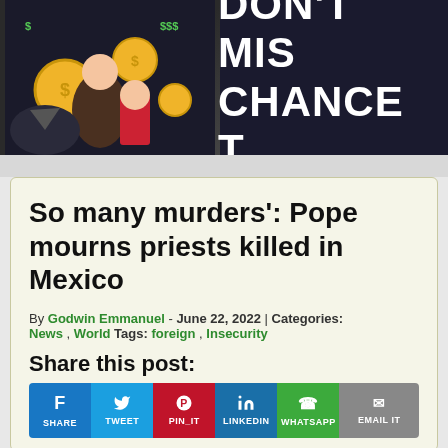[Figure (illustration): Dark-themed banner advertisement with cartoon characters and coins, text reading DON'T MIS[S] CHANCE T[O...]]
So many murders': Pope mourns priests killed in Mexico
By Godwin Emmanuel - June 22, 2022 | Categories: News , World Tags: foreign , Insecurity
Share this post:
[Figure (photo): Photo of Pope Francis in white papal vestments, waving, standing near a doorway]